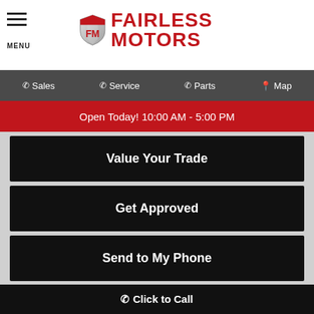[Figure (logo): Fairless Motors logo with FM shield and red text]
MENU | Sales | Service | Parts | Map
Open Today! 10:00 AM - 5:00 PM
Value Your Trade
Get Approved
Send to My Phone
All with no impact to your credit score
Estimate financing
Click to Call